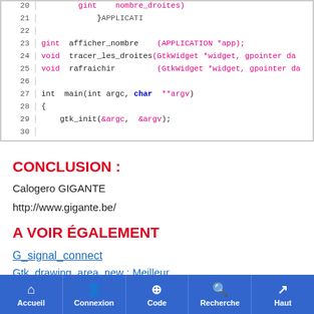[Figure (screenshot): Code listing lines 20-30 of a C program using GTK, showing function declarations for afficher_nombre, tracer_les_droites, rafraichir, and int main with gtk_init call]
CONCLUSION :
Calogero GIGANTE
http://www.gigante.be/
A VOIR ÉGALEMENT
G_signal_connect
Accueil | Connexion | Code | Recherche | Haut